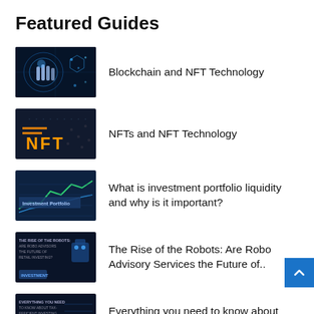Featured Guides
Blockchain and NFT Technology
NFTs and NFT Technology
What is investment portfolio liquidity and why is it important?
The Rise of the Robots: Are Robo Advisory Services the Future of..
Everything you need to know about tax-efficient investing